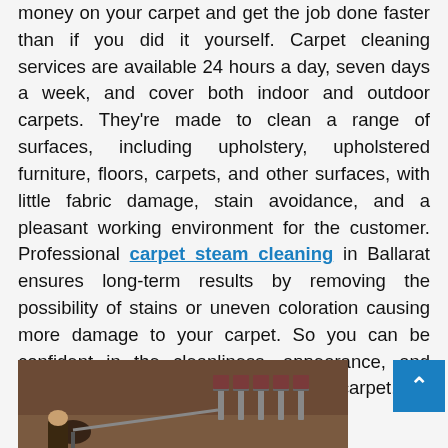money on your carpet and get the job done faster than if you did it yourself. Carpet cleaning services are available 24 hours a day, seven days a week, and cover both indoor and outdoor carpets. They're made to clean a range of surfaces, including upholstery, upholstered furniture, floors, carpets, and other surfaces, with little fabric damage, stain avoidance, and a pleasant working environment for the customer. Professional carpet steam cleaning in Ballarat ensures long-term results by removing the possibility of stains or uneven coloration causing more damage to your carpet. So you can be confident in the cleanliness, appearance, and structural integrity of your freshly clean carpet.
[Figure (photo): A person steam cleaning a carpet in a room with chairs visible in the background]